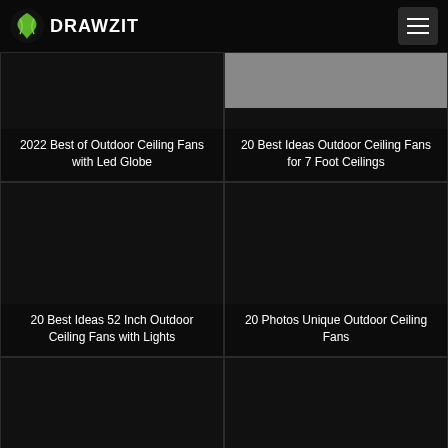DRAWZIT
[Figure (screenshot): Card: 2022 Best of Outdoor Ceiling Fans with Led Globe]
[Figure (screenshot): Card: 20 Best Ideas Outdoor Ceiling Fans for 7 Foot Ceilings]
[Figure (screenshot): Card: 20 Best Ideas 52 Inch Outdoor Ceiling Fans with Lights]
[Figure (screenshot): Card: 20 Photos Unique Outdoor Ceiling Fans]
[Figure (screenshot): Card: partial bottom-left (title cut off)]
[Figure (screenshot): Card: partial bottom-right (title cut off)]